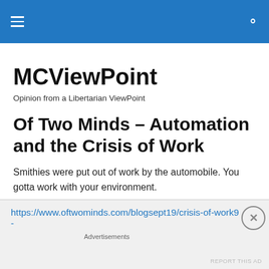MCViewPoint navigation bar
MCViewPoint
Opinion from a Libertarian ViewPoint
Of Two Minds – Automation and the Crisis of Work
Smithies were put out of work by the automobile. You gotta work with your environment.
https://www.oftwominds.com/blogsept19/crisis-of-work9-
Advertisements